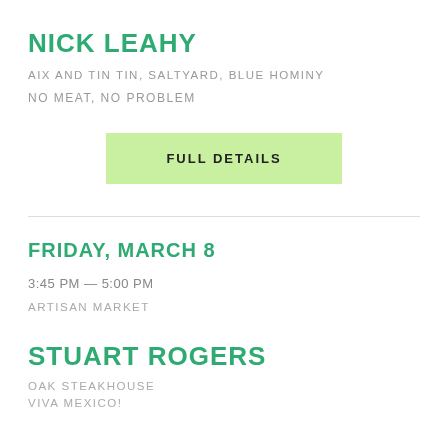NICK LEAHY
AIX AND TIN TIN, SALTYARD, BLUE HOMINY
NO MEAT, NO PROBLEM
[Figure (other): Green button labeled FULL DETAILS]
FRIDAY, MARCH 8
3:45 PM — 5:00 PM
ARTISAN MARKET
STUART ROGERS
OAK STEAKHOUSE
VIVA MEXICO!